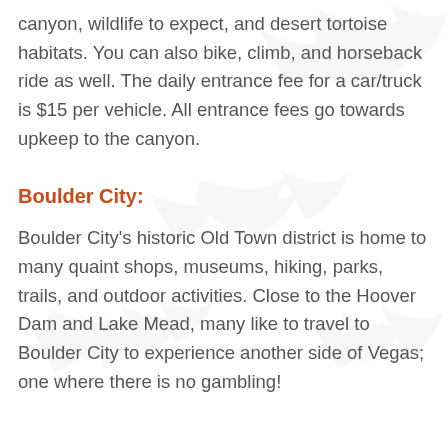canyon, wildlife to expect, and desert tortoise habitats. You can also bike, climb, and horseback ride as well. The daily entrance fee for a car/truck is $15 per vehicle. All entrance fees go towards upkeep to the canyon.
Boulder City:
Boulder City's historic Old Town district is home to many quaint shops, museums, hiking, parks, trails, and outdoor activities. Close to the Hoover Dam and Lake Mead, many like to travel to Boulder City to experience another side of Vegas; one where there is no gambling!